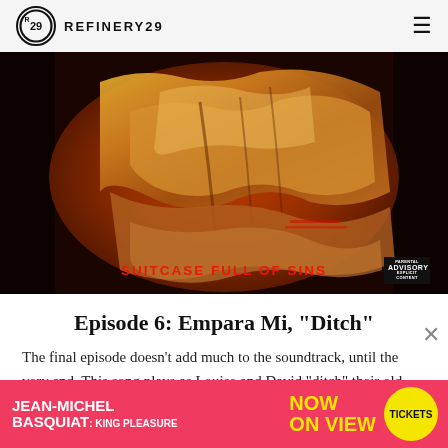REFINERY29
[Figure (photo): Album cover for 'Suitcase Full of Sins' - dark reddish-golden image of a figure wrapped in shiny gold fabric/suitcase with Parental Advisory label in bottom right]
SUITCASE FULL OF SINS
Episode 6: Empara Mi, "Ditch"
The final episode doesn't add much to the soundtrack, until the very end. This song plays as Louise and David "ditch" their old lives a...
[Figure (infographic): Advertisement banner: JEAN-MICHEL BASQUIAT: KING PLEASURE — NOW ON VIEW — TICKETS (yellow circle button)]